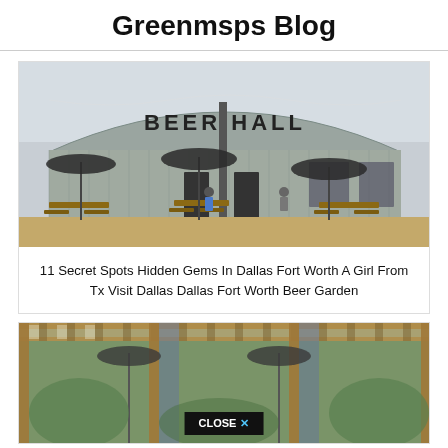Greenmsps Blog
[Figure (photo): Outdoor Beer Hall with patio seating, wooden picnic tables, dark umbrellas, and a corrugated metal arched building with 'BEER HALL' sign]
11 Secret Spots Hidden Gems In Dallas Fort Worth A Girl From Tx Visit Dallas Dallas Fort Worth Beer Garden
[Figure (photo): Outdoor beer garden patio with wooden pergola structure, patio umbrellas, greenery, and a CLOSE X button overlay at bottom]